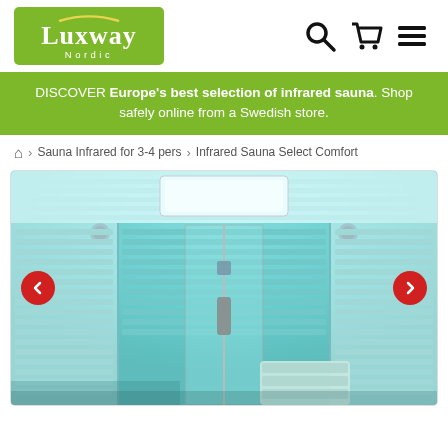[Figure (logo): Luxway Nordic logo — white text on green rounded rectangle background with yellow arc above]
[Figure (other): Navigation icons: search (magnifying glass), shopping cart, and hamburger menu]
DISCOVER Europe's best selection of infrared sauna. Shop safely online from a Swedish store.
🏠 > Sauna Infrared for 3-4 pers > Infrared Sauna Select Comfort
[Figure (photo): Interior of an infrared sauna with teal/cyan LED lighting, white wood paneling with horizontal slats, glass door panel, and wooden bench/lounger. Left and right carousel navigation arrows (red circles with white chevrons).]